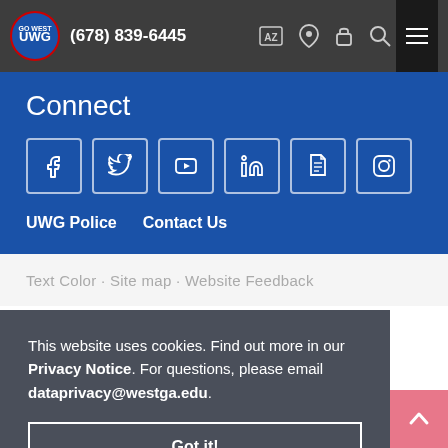(678) 839-6445
Connect
[Figure (other): Social media icons row: Facebook, Twitter, YouTube, LinkedIn, document/news, Instagram]
UWG Police   Contact Us
This website uses cookies. Find out more in our Privacy Notice. For questions, please email dataprivacy@westga.edu.
Got it!